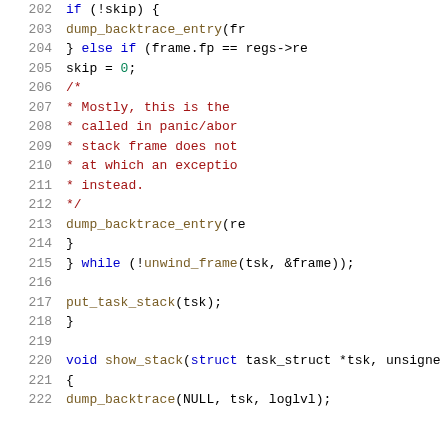[Figure (screenshot): Source code screenshot showing C code lines 202-222, with syntax highlighting. Line numbers on left in gray, keywords in blue, comments in red/dark red, function names in brown, identifiers in dark blue.]